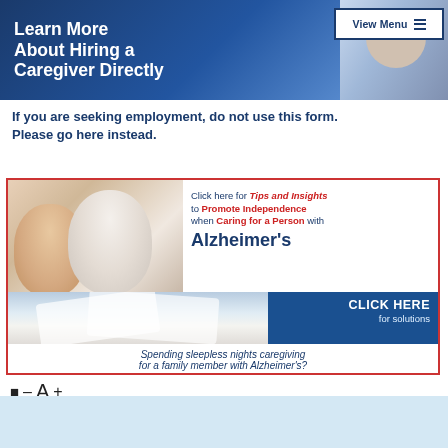[Figure (illustration): Top banner with dark blue background showing text 'Learn More About Hiring a Caregiver Directly' in white bold text, with a photo of an elderly woman smiling on the right side, and a 'View Menu' button with hamburger icon in the top right corner.]
If you are seeking employment, do not use this form. Please go here instead.
[Figure (illustration): Advertisement banner. Top half shows two smiling women faces (younger caregiver and elderly person) on the left, with text on right: 'Click here for Tips and Insights to Promote Independence when Caring for a Person with Alzheimer's'. Bottom half shows pillows on blue background with 'CLICK HERE for solutions' text and caption 'Spending sleepless nights caregiving for a family member with Alzheimer's?']
■  –  A  +